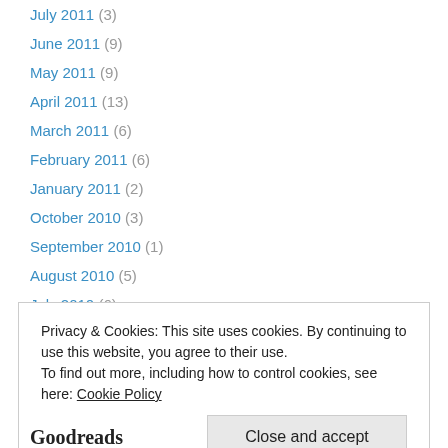July 2011 (3)
June 2011 (9)
May 2011 (9)
April 2011 (13)
March 2011 (6)
February 2011 (6)
January 2011 (2)
October 2010 (3)
September 2010 (1)
August 2010 (5)
July 2010 (6)
May 2010 (2)
Privacy & Cookies: This site uses cookies. By continuing to use this website, you agree to their use. To find out more, including how to control cookies, see here: Cookie Policy
Close and accept
Goodreads